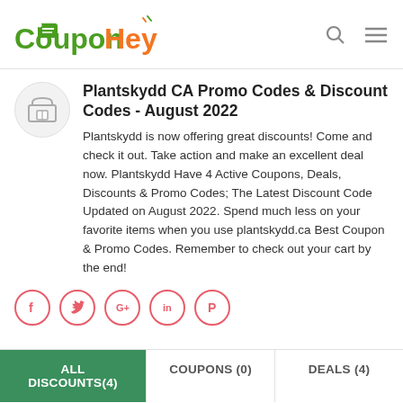[Figure (logo): CouponHey logo with green 'Coupon' and orange 'Hey' text and a price tag icon]
Plantskydd CA Promo Codes & Discount Codes - August 2022
Plantskydd is now offering great discounts! Come and check it out. Take action and make an excellent deal now. Plantskydd Have 4 Active Coupons, Deals, Discounts & Promo Codes; The Latest Discount Code Updated on August 2022. Spend much less on your favorite items when you use plantskydd.ca Best Coupon & Promo Codes. Remember to check out your cart by the end!
[Figure (infographic): Social share buttons: Facebook, Twitter, Google+, LinkedIn, Pinterest - all with pink/red circle outlines]
ALL DISCOUNTS(4)   COUPONS (0)   DEALS (4)